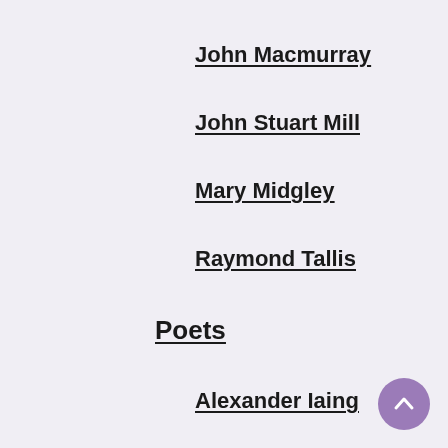John Macmurray
John Stuart Mill
Mary Midgley
Raymond Tallis
Poets
Alexander Iaing
Caledonian Antisyzygy
Carol Ann Duffy
Daniel Abse